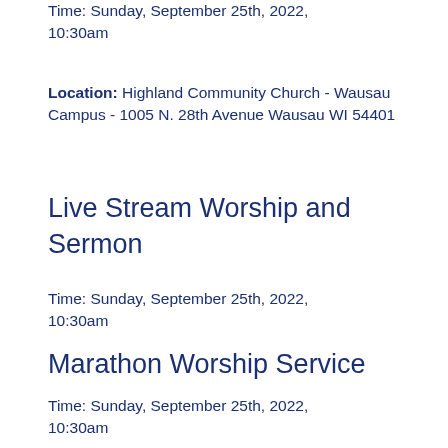Time: Sunday, September 25th, 2022, 10:30am
Location: Highland Community Church - Wausau Campus - 1005 N. 28th Avenue Wausau WI 54401
Live Stream Worship and Sermon
Time: Sunday, September 25th, 2022, 10:30am
Marathon Worship Service
Time: Sunday, September 25th, 2022, 10:30am